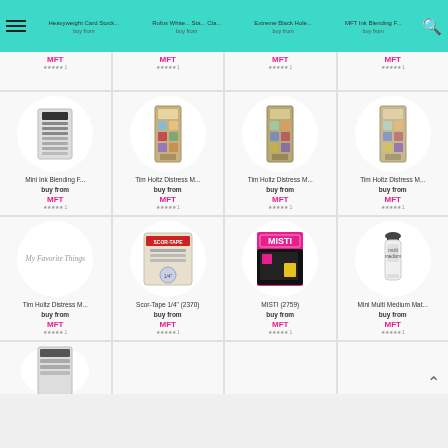Navigation bar with hamburger menu, product links: Heavyweight Card Stock..., Rufus White... Sta..., Extreme Black Hole..., MFT Ink Blending F..., and search icon
[Figure (screenshot): Product card: Mini Ink Blending F... with MFT badge and buy from link]
[Figure (screenshot): Product card: Tim Holtz Distress M... with MFT badge and buy from link]
[Figure (screenshot): Product card: Tim Holtz Distress M... with MFT badge and buy from link]
[Figure (screenshot): Product card: Tim Holtz Distress M... with MFT badge and buy from link]
[Figure (screenshot): Product card: Tim Holtz Distress M... with MFT badge and buy from link]
[Figure (screenshot): Product card: Scor-Tape 1/4" (2370) with MFT badge and buy from link]
[Figure (screenshot): Product card: MISTI (2759) with MFT badge and buy from link]
[Figure (screenshot): Product card: Mini Multi Medium Mat... with MFT badge and buy from link]
[Figure (screenshot): Partial product card at bottom]